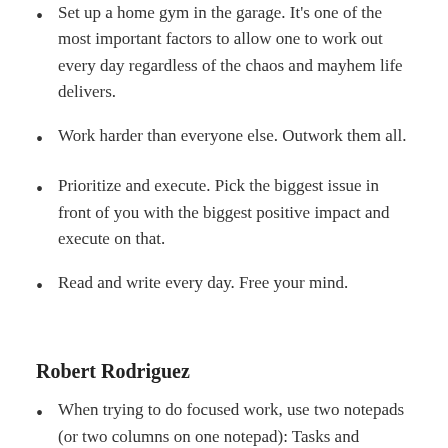Set up a home gym in the garage. It's one of the most important factors to allow one to work out every day regardless of the chaos and mayhem life delivers.
Work harder than everyone else. Outwork them all.
Prioritize and execute. Pick the biggest issue in front of you with the biggest positive impact and execute on that.
Read and write every day. Free your mind.
Robert Rodriguez
When trying to do focused work, use two notepads (or two columns on one notepad): Tasks and Distractions. Write down a few tasks, then start doing the most important, major, even